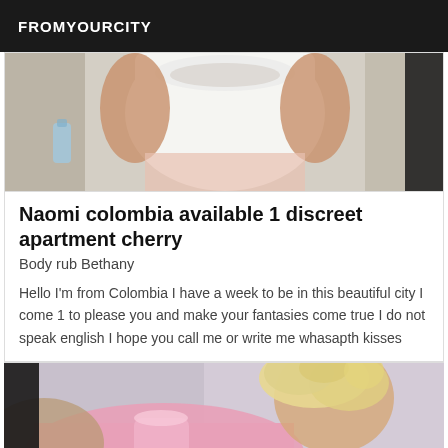FROMYOURCITY
[Figure (photo): Photo of a person in a white t-shirt, torso visible, appears to be indoors]
Naomi colombia available 1 discreet apartment cherry
Body rub Bethany
Hello I'm from Colombia I have a week to be in this beautiful city I come 1 to please you and make your fantasies come true I do not speak english I hope you call me or write me whasapth kisses
[Figure (photo): Photo of a person with blonde curly hair wearing a pink top, close-up shot]